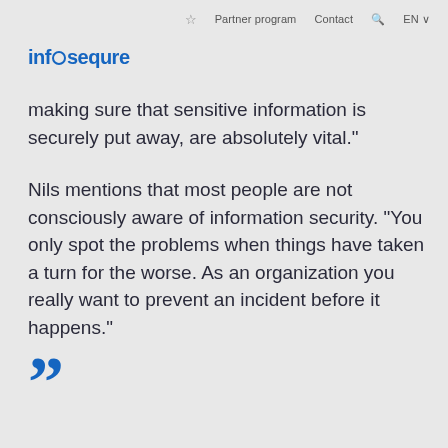Partner program   Contact   EN
[Figure (logo): infosequre logo in blue text]
making sure that sensitive information is securely put away, are absolutely vital."
Nils mentions that most people are not consciously aware of information security. "You only spot the problems when things have taken a turn for the worse. As an organization you really want to prevent an incident before it happens."
[Figure (illustration): Large blue closing quotation marks decorative element]